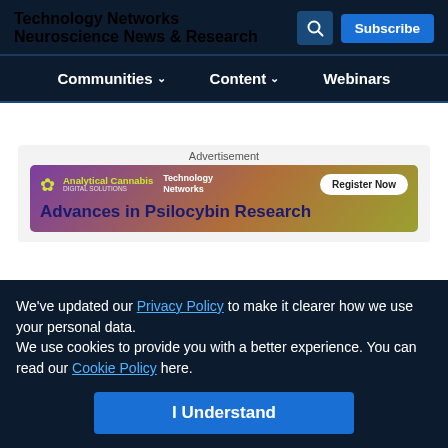Technology Networks — Neuroscience News & Research
Communities | Content | Webinars
[Figure (screenshot): Advertisement banner for Analytical Cannabis and Technology Networks: 'Advances in Psilocybin Research' with Register Now button]
We've updated our Privacy Policy to make it clearer how we use your personal data.
We use cookies to provide you with a better experience. You can read our Cookie Policy here.
I Understand
Chosen for You
Advertisement
[Figure (screenshot): Advertisement banner for Opinionated Science podcast, Episode 02: Reacting to Bias in STEM, with Listen to the Podcast button]